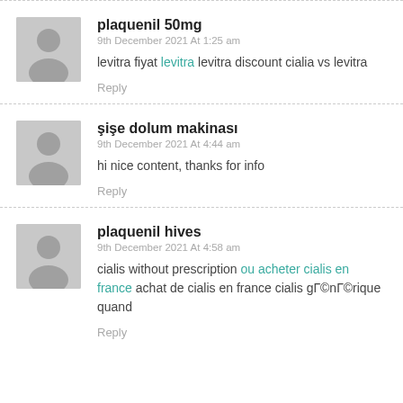plaquenil 50mg
9th December 2021 At 1:25 am
levitra fiyat levitra levitra discount cialia vs levitra
Reply
şişe dolum makinası
9th December 2021 At 4:44 am
hi nice content, thanks for info
Reply
plaquenil hives
9th December 2021 At 4:58 am
cialis without prescription ou acheter cialis en france achat de cialis en france cialis gén érique quand
Reply